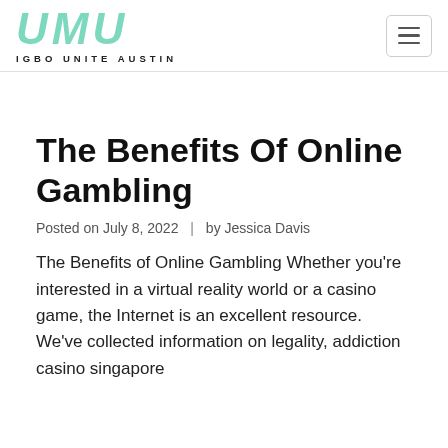[Figure (logo): UMU Igbo Unite Austin logo with teal/mint stylized italic UMU text and subtitle IGBO UNITE AUSTIN]
The Benefits Of Online Gambling
Posted on July 8, 2022  |  by Jessica Davis
The Benefits of Online Gambling Whether you're interested in a virtual reality world or a casino game, the Internet is an excellent resource. We've collected information on legality, addiction casino singapore